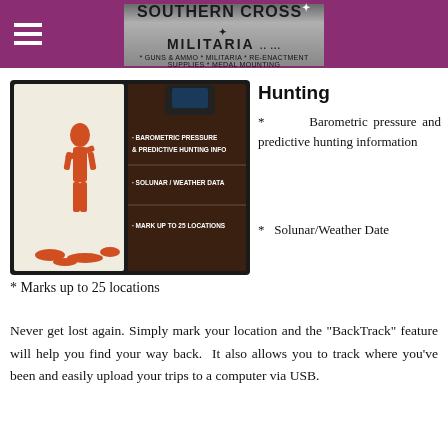Southern Cross Militaria — guns & ammo, militaria, re-enactment supplies, medal mounting
[Figure (photo): Close-up photo of a hunting device/GPS unit packaging showing red hunter silhouette graphic and bullet points: Barometric Pressure & Predictive Hunting Info, Solunar/Weather Data, Mark up to 25 Locations]
Hunting
* Barometric pressure and predictive hunting information
* Solunar/Weather Date
* Marks up to 25 locations
Never get lost again. Simply mark your location and the "BackTrack" feature will help you find your way back. It also allows you to track where you've been and easily upload your trips to a computer via USB.